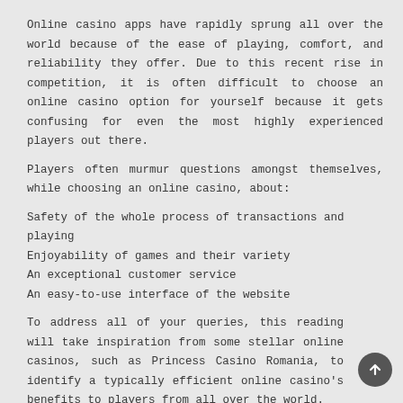Online casino apps have rapidly sprung all over the world because of the ease of playing, comfort, and reliability they offer. Due to this recent rise in competition, it is often difficult to choose an online casino option for yourself because it gets confusing for even the most highly experienced players out there.
Players often murmur questions amongst themselves, while choosing an online casino, about:
Safety of the whole process of transactions and playing
Enjoyability of games and their variety
An exceptional customer service
An easy-to-use interface of the website
To address all of your queries, this reading will take inspiration from some stellar online casinos, such as Princess Casino Romania, to identify a typically efficient online casino's benefits to players from all over the world.